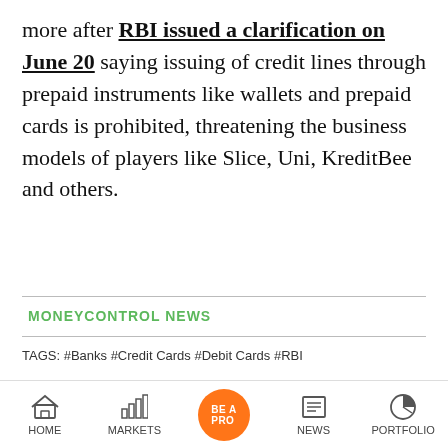more after RBI issued a clarification on June 20 saying issuing of credit lines through prepaid instruments like wallets and prepaid cards is prohibited, threatening the business models of players like Slice, Uni, KreditBee and others.
MONEYCONTROL NEWS
TAGS: #Banks #Credit Cards #Debit Cards #RBI
Dreamfolks Services revives with Rs 13.43- [profit]
Aster opens its 200th pharmacy, stock hits [50...]
HOME | MARKETS | BE A PRO | NEWS | PORTFOLIO